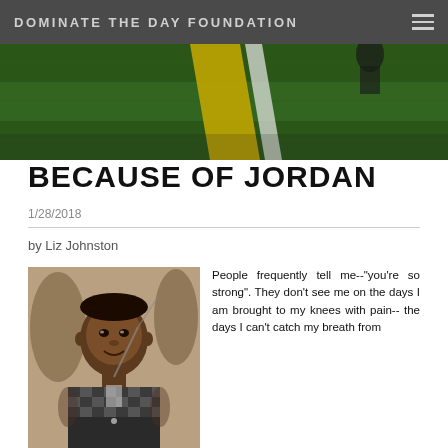DOMINATE THE DAY FOUNDATION
[Figure (photo): Aerial view of green grass football field with yellow and white yard line markings]
BECAUSE OF JORDAN
1/28/2018
by Liz Johnston
[Figure (photo): Young Black boy in checkered shirt smiling at an event, graduation or ceremony setting]
People frequently tell me--"you're so strong". They don't see me on the days I am brought to my knees with pain-- the days I can't catch my breath from